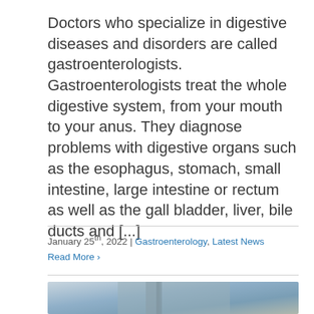Doctors who specialize in digestive diseases and disorders are called gastroenterologists. Gastroenterologists treat the whole digestive system, from your mouth to your anus. They diagnose problems with digestive organs such as the esophagus, stomach, small intestine, large intestine or rectum as well as the gall bladder, liver, bile ducts and [...]
January 25th, 2022 | Gastroenterology, Latest News
Read More >
[Figure (photo): A person holding their abdomen, wearing a gray jacket and blue shirt, suggesting abdominal pain or digestive discomfort.]